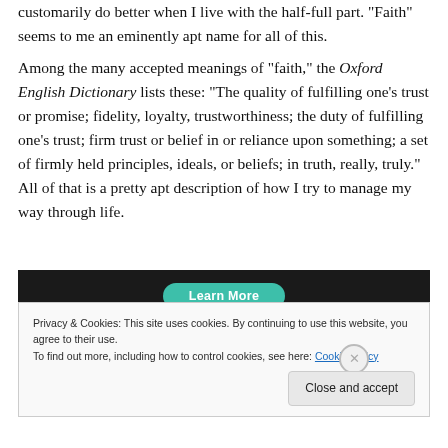customarily do better when I live with the half-full part. “Faith” seems to me an eminently apt name for all of this.
Among the many accepted meanings of “faith,” the Oxford English Dictionary lists these: “The quality of fulfilling one’s trust or promise; fidelity, loyalty, trustworthiness; the duty of fulfilling one’s trust; firm trust or belief in or reliance upon something; a set of firmly held principles, ideals, or beliefs; in truth, really, truly.” All of that is a pretty apt description of how I try to manage my way through life.
[Figure (screenshot): Dark banner with a teal 'Learn More' button]
Privacy & Cookies: This site uses cookies. By continuing to use this website, you agree to their use.
To find out more, including how to control cookies, see here: Cookie Policy